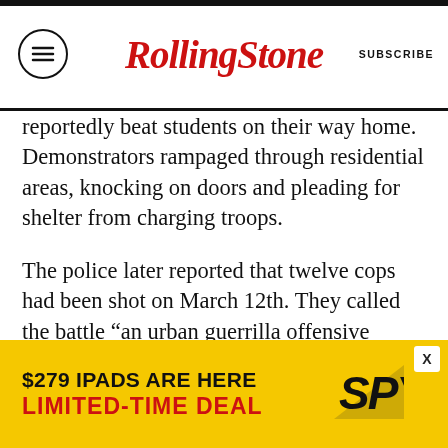RollingStone | SUBSCRIBE
reportedly beat students on their way home. Demonstrators rampaged through residential areas, knocking on doors and pleading for shelter from charging troops.
The police later reported that twelve cops had been shot on March 12th. They called the battle “an urban guerrilla offensive without precedent.” The alternative paper, Rosso, declared that the “armed violence was carried out by organized groups who left the body of the march, struck selected targets and returned into the group. This military avant-garde,” Rosso concluded, “was completely accepted by the demonstration because it was an integral part of it.”
[Figure (infographic): Advertisement banner: '$279 IPADS ARE HERE LIMITED-TIME DEAL' with SPY logo on yellow background]